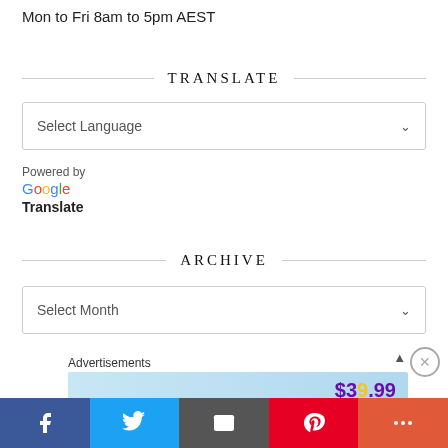Mon to Fri 8am to 5pm AEST
TRANSLATE
[Figure (screenshot): Select Language dropdown box with down arrow]
Powered by
Google Translate
ARCHIVE
[Figure (screenshot): Select Month dropdown box with down arrow]
Advertisements
[Figure (screenshot): Advertisement banner showing $39.99 price]
[Figure (screenshot): Social sharing bar with Facebook, Twitter, Email, Pinterest, and More buttons]